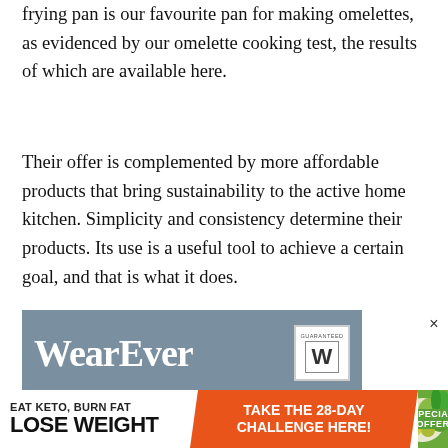frying pan is our favourite pan for making omelettes, as evidenced by our omelette cooking test, the results of which are available here.
Their offer is complemented by more affordable products that bring sustainability to the active home kitchen. Simplicity and consistency determine their products. Its use is a useful tool to achieve a certain goal, and that is what it does.
[Figure (other): Advertisement banner showing WearEver brand logo with grey background and guaranteed W badge, overlaid with a keto diet ad reading 'EAT KETO, BURN FAT LOSE WEIGHT' on left, 'TAKE THE 28-DAY CHALLENGE HERE!' in orange center, and 'SPECIAL OFFER' in green on right with vegetables image. Close button (x) in top right.]